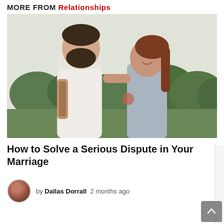MORE FROM Relationships
[Figure (photo): A couple facing each other outdoors. A bearded man with tattoos in a white t-shirt and a smiling woman with auburn hair in a gray tank top, both with tattoos, in an outdoor setting with green trees in the background.]
How to Solve a Serious Dispute in Your Marriage
by Dallas Dorrall  2 months ago
READ MORE